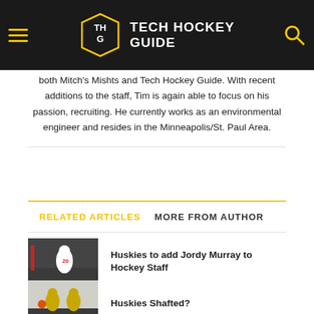Tech Hockey Guide
both Mitch's Mishts and Tech Hockey Guide. With recent additions to the staff, Tim is again able to focus on his passion, recruiting. He currently works as an environmental engineer and resides in the Minneapolis/St. Paul Area.
RELATED ARTICLES   MORE FROM AUTHOR
Huskies to add Jordy Murray to Hockey Staff
Huskies Shafted?